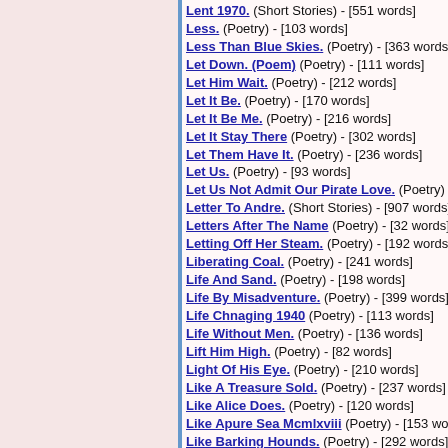Lent 1970. (Short Stories) - [551 words]
Less. (Poetry) - [103 words]
Less Than Blue Skies. (Poetry) - [363 words]
Let Down. (Poem) (Poetry) - [111 words]
Let Him Wait. (Poetry) - [212 words]
Let It Be. (Poetry) - [170 words]
Let It Be Me. (Poetry) - [216 words]
Let It Stay There (Poetry) - [302 words]
Let Them Have It. (Poetry) - [236 words]
Let Us. (Poetry) - [93 words]
Let Us Not Admit Our Pirate Love. (Poetry) - [
Letter To Andre. (Short Stories) - [907 words]
Letters After The Name (Poetry) - [32 words]
Letting Off Her Steam. (Poetry) - [192 words]
Liberating Coal. (Poetry) - [241 words]
Life And Sand. (Poetry) - [198 words]
Life By Misadventure. (Poetry) - [399 words]
Life Chnaging 1940 (Poetry) - [113 words]
Life Without Men. (Poetry) - [136 words]
Lift Him High. (Poetry) - [82 words]
Light Of His Eye. (Poetry) - [210 words]
Like A Treasure Sold. (Poetry) - [237 words]
Like Alice Does. (Poetry) - [120 words]
Like Apure Sea Mcmlxviii (Poetry) - [153 words]
Like Barking Hounds. (Poetry) - [292 words]